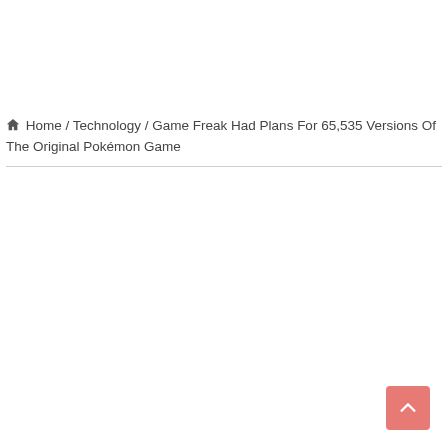🏠 Home / Technology / Game Freak Had Plans For 65,535 Versions Of The Original Pokémon Game